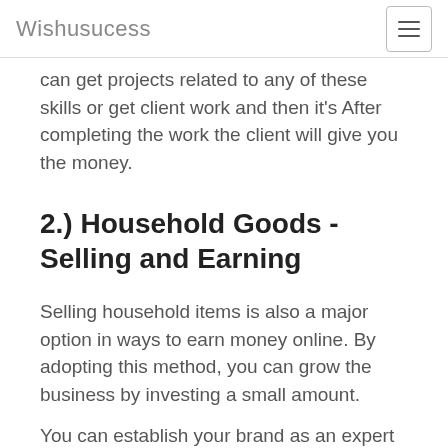Wishusucess
can get projects related to any of these skills or get client work and then it's After completing the work the client will give you the money.
2.) Household Goods - Selling and Earning
Selling household items is also a major option in ways to earn money online. By adopting this method, you can grow the business by investing a small amount.
You can establish your brand as an expert in any